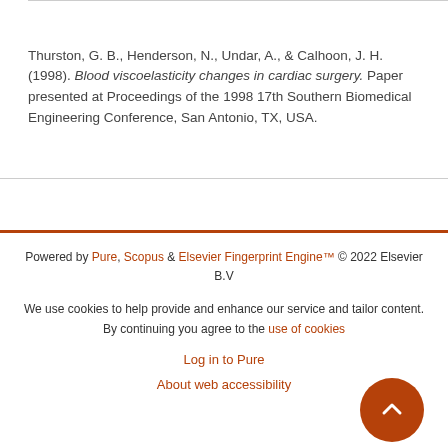Thurston, G. B., Henderson, N., Undar, A., & Calhoon, J. H. (1998). Blood viscoelasticity changes in cardiac surgery. Paper presented at Proceedings of the 1998 17th Southern Biomedical Engineering Conference, San Antonio, TX, USA.
Powered by Pure, Scopus & Elsevier Fingerprint Engine™ © 2022 Elsevier B.V
We use cookies to help provide and enhance our service and tailor content. By continuing you agree to the use of cookies
Log in to Pure
About web accessibility